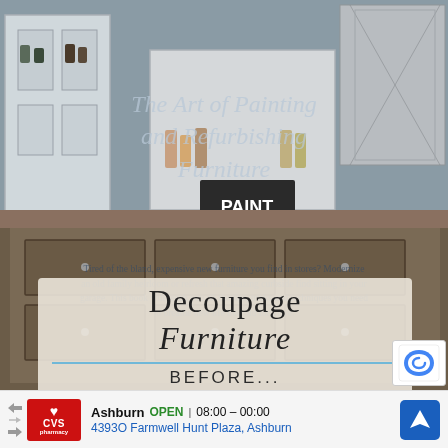[Figure (photo): Photograph of a furniture/paint shop interior showing wooden cabinets, shelves with paint supplies, and a wooden desk/cabinet in the foreground. Overlaid with semi-transparent text including a book/page title 'The Art of Painting and Refurbishing Furniture' and body paragraph text. A handwritten-style card panel overlaid reads 'Decoupage Furniture' in script, 'BEFORE...' and 'tissue paper' below a blue dividing line.]
The Art of Painting and Refurbishing Furniture
Tired of the bland, expensive new furniture you find in stores? Modernize an old family heirloom or refresh that amazing curbside find sitting in your garage. This book will teach you all the tips, tricks and techniques you need to breathe new life into old furniture.
Decoupage
Furniture
BEFORE...
tissue paper
Ashburn   OPEN | 08:00 – 00:00
4393O Farmwell Hunt Plaza, Ashburn